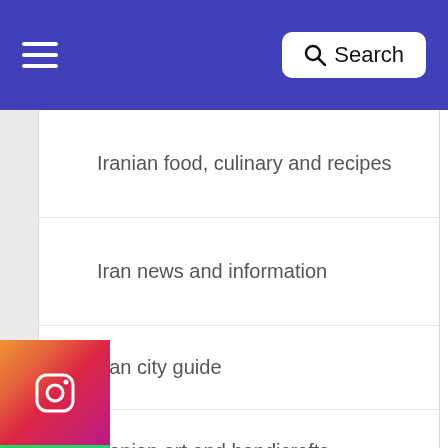☰  Search
Iranian food, culinary and recipes
Iran news and information
Iran city guide
Iranian art and handicrafts